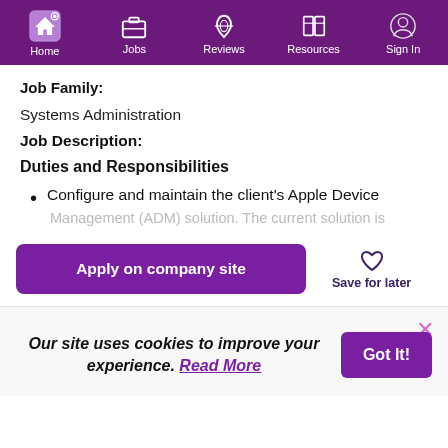[Figure (screenshot): Navigation bar with purple background showing Home (active, highlighted), Jobs, Reviews, Resources, and Sign In icons with labels]
Job Family:
Systems Administration
Job Description:
Duties and Responsibilities
Configure and maintain the client's Apple Device Management (ADM) solution. The current solution is
[Figure (screenshot): Apply on company site button (purple) and Save for later button with heart icon]
Our site uses cookies to improve your experience. Read More
Got It!